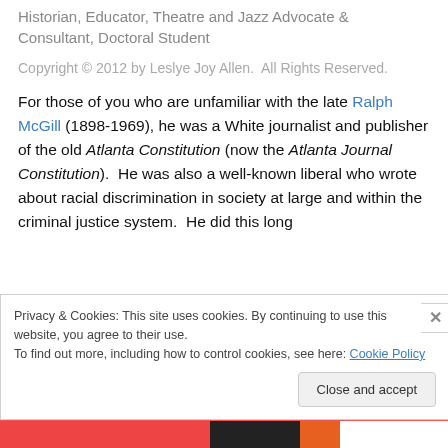Historian, Educator, Theatre and Jazz Advocate & Consultant, Doctoral Student
Copyright © 2012 by Leslye Joy Allen.  All Rights Reserved.
For those of you who are unfamiliar with the late Ralph McGill (1898-1969), he was a White journalist and publisher of the old Atlanta Constitution (now the Atlanta Journal Constitution).  He was also a well-known liberal who wrote about racial discrimination in society at large and within the criminal justice system.  He did this long
Privacy & Cookies: This site uses cookies. By continuing to use this website, you agree to their use.
To find out more, including how to control cookies, see here: Cookie Policy